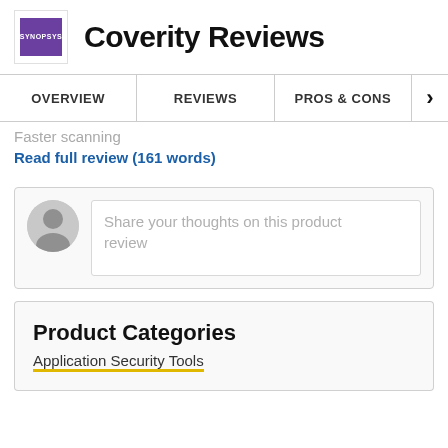Coverity Reviews
OVERVIEW | REVIEWS | PROS & CONS
Faster scanning
Read full review (161 words)
[Figure (other): Comment/review input box with user avatar placeholder and text 'Share your thoughts on this product review']
Product Categories
Application Security Tools